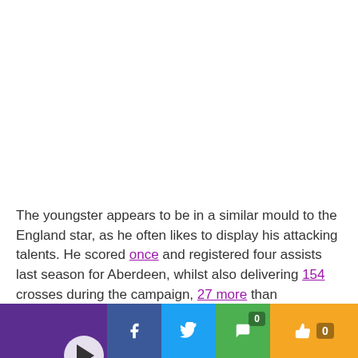[Figure (photo): White blank/empty area at top of page, representing an image placeholder]
The youngster appears to be in a similar mould to the England star, as he often likes to display his attacking talents. He scored once and registered four assists last season for Aberdeen, whilst also delivering 154 crosses during the campaign, 27 more than Alexander-Arnold.
[Figure (screenshot): Video player thumbnail showing dark image with play button and text: Guillem Balague tells us who is Pep Guardiola's greatest rival ????????]
[Figure (infographic): Social media sharing bar with purple blank area, Facebook (f), Twitter (bird), comment icon with badge 0, thumbs up with badge 0]